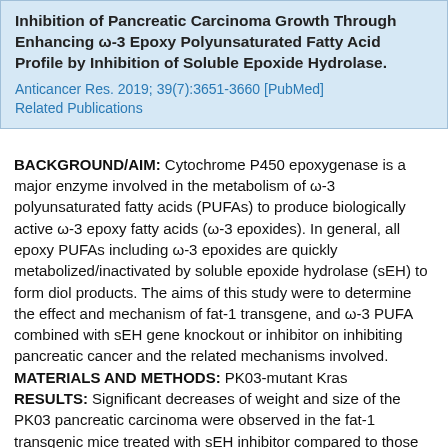Inhibition of Pancreatic Carcinoma Growth Through Enhancing ω-3 Epoxy Polyunsaturated Fatty Acid Profile by Inhibition of Soluble Epoxide Hydrolase.
Anticancer Res. 2019; 39(7):3651-3660 [PubMed]
Related Publications
BACKGROUND/AIM: Cytochrome P450 epoxygenase is a major enzyme involved in the metabolism of ω-3 polyunsaturated fatty acids (PUFAs) to produce biologically active ω-3 epoxy fatty acids (ω-3 epoxides). In general, all epoxy PUFAs including ω-3 epoxides are quickly metabolized/inactivated by soluble epoxide hydrolase (sEH) to form diol products. The aims of this study were to determine the effect and mechanism of fat-1 transgene, and ω-3 PUFA combined with sEH gene knockout or inhibitor on inhibiting pancreatic cancer and the related mechanisms involved.
MATERIALS AND METHODS: PK03-mutant Kras
RESULTS: Significant decreases of weight and size of the PK03 pancreatic carcinoma were observed in the fat-1 transgenic mice treated with sEH inhibitor compared to those of C57BL/6J control mice fed with AIN-76A diet